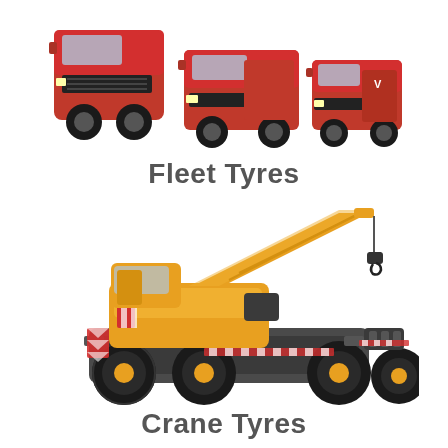[Figure (photo): Three red commercial vehicles - a large truck/lorry on the left, a medium van in the center, and a smaller van/minibus on the right, arranged in a group on a white background]
Fleet Tyres
[Figure (photo): An orange mobile crane (rough terrain crane) with extended boom pointing upper right, large black tires, viewed from the front-left on a white background]
Crane Tyres